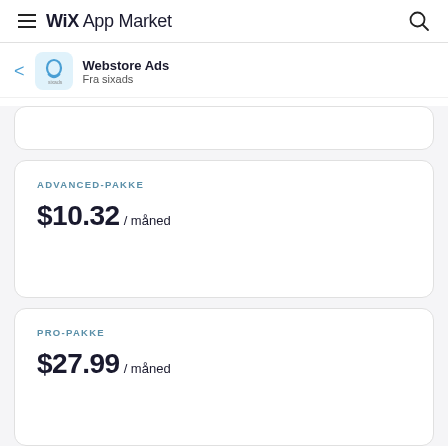Wix App Market
Webstore Ads
Fra sixads
ADVANCED-PAKKE
$10.32 / måned
PRO-PAKKE
$27.99 / måned